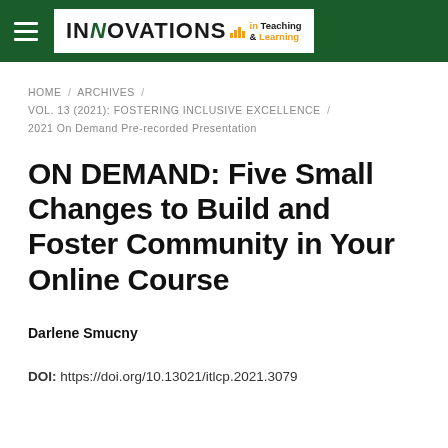INNOVATIONS in Teaching & Learning
HOME / ARCHIVES / VOL. 13 (2021): FOSTERING INCLUSIVE EXCELLENCE / 2021 On Demand Pre-recorded Presentation
ON DEMAND: Five Small Changes to Build and Foster Community in Your Online Course
Darlene Smucny
DOI: https://doi.org/10.13021/itlcp.2021.3079